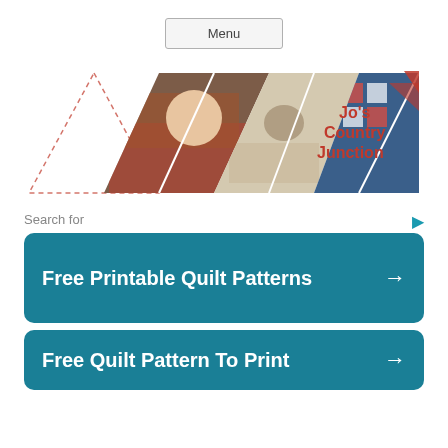Menu
[Figure (illustration): Jo's Country Junction banner with triangular photo collage showing a person with a quilt, embroidery work, a patchwork quilt, and a beagle dog, with the site name in red text on the right]
Search for
Free Printable Quilt Patterns →
Free Quilt Pattern To Print →